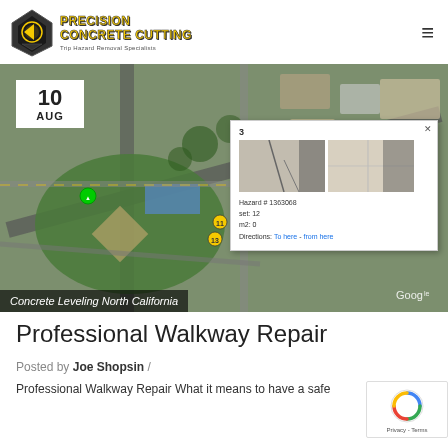[Figure (logo): Precision Concrete Cutting logo with diamond shape and yellow/black text. Subtitle: Trip Hazard Removal Specialists]
[Figure (screenshot): Aerial Google Maps view showing a neighborhood in North California with numbered yellow pin markers indicating concrete hazard locations. A popup overlay shows hazard #1363068, set: 12, m2: 0, with two sidewalk crack photos and Directions links.]
Concrete Leveling North California
Professional Walkway Repair
Posted by Joe Shopsin /
Professional Walkway Repair What it means to have a safe